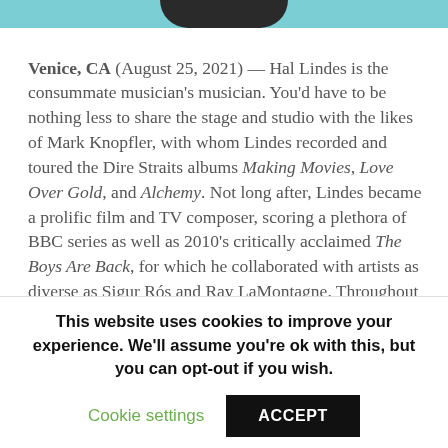[Figure (photo): Partial photo at top of page showing teal/cyan background with dark figure, cropped]
Venice, CA (August 25, 2021) — Hal Lindes is the consummate musician's musician. You'd have to be nothing less to share the stage and studio with the likes of Mark Knopfler, with whom Lindes recorded and toured the Dire Straits albums Making Movies, Love Over Gold, and Alchemy. Not long after, Lindes became a prolific film and TV composer, scoring a plethora of BBC series as well as 2010's critically acclaimed The Boys Are Back, for which he collaborated with artists as diverse as Sigur Rós and Ray LaMontagne. Throughout it all, one factor has been as ever-present as the music in his heart and
This website uses cookies to improve your experience. We'll assume you're ok with this, but you can opt-out if you wish.
Cookie settings   ACCEPT